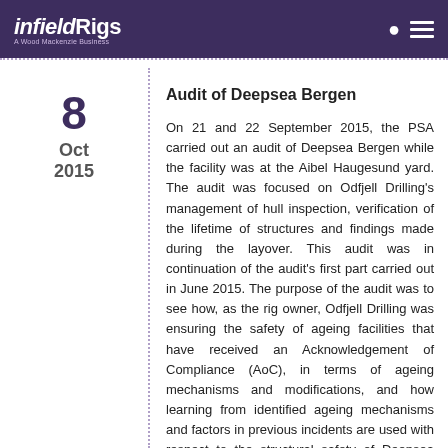infieldRigs — A Wood Mackenzie Business
8
Oct
2015
Audit of Deepsea Bergen
On 21 and 22 September 2015, the PSA carried out an audit of Deepsea Bergen while the facility was at the Aibel Haugesund yard. The audit was focused on Odfjell Drilling's management of hull inspection, verification of the lifetime of structures and findings made during the layover. This audit was in continuation of the audit's first part carried out in June 2015. The purpose of the audit was to see how, as the rig owner, Odfjell Drilling was ensuring the safety of ageing facilities that have received an Acknowledgement of Compliance (AoC), in terms of ageing mechanisms and modifications, and how learning from identified ageing mechanisms and factors in previous incidents are used with respect to the structural safety of Deepsea Bergen. No non-conformities or improvement points were identified during this audit.